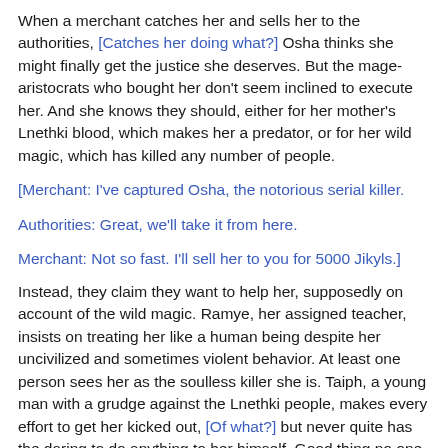When a merchant catches her and sells her to the authorities, [Catches her doing what?] Osha thinks she might finally get the justice she deserves. But the mage-aristocrats who bought her don't seem inclined to execute her. And she knows they should, either for her mother's Lnethki blood, which makes her a predator, or for her wild magic, which has killed any number of people.
[Merchant: I've captured Osha, the notorious serial killer.
Authorities: Great, we'll take it from here.
Merchant: Not so fast. I'll sell her to you for 5000 Jikyls.]
Instead, they claim they want to help her, supposedly on account of the wild magic. Ramye, her assigned teacher, insists on treating her like a human being despite her uncivilized and sometimes violent behavior. At least one person sees her as the soulless killer she is. Taiph, a young man with a grudge against the Lnethki people, makes every effort to get her kicked out, [Of what?] but never quite has the daring to do anything to her himself. Good thing no one